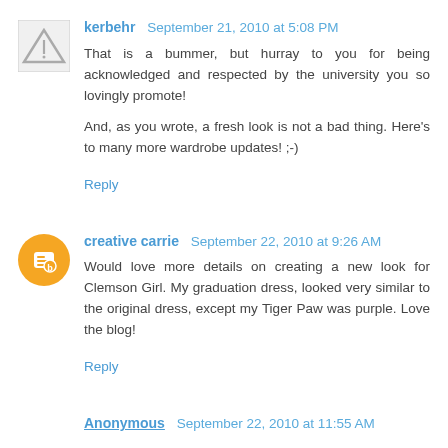kerbehr  September 21, 2010 at 5:08 PM
That is a bummer, but hurray to you for being acknowledged and respected by the university you so lovingly promote!

And, as you wrote, a fresh look is not a bad thing. Here’s to many more wardrobe updates! ;-)

Reply
creative carrie  September 22, 2010 at 9:26 AM
Would love more details on creating a new look for Clemson Girl. My graduation dress, looked very similar to the original dress, except my Tiger Paw was purple. Love the blog!

Reply
Anonymous  September 22, 2010 at 11:55 AM